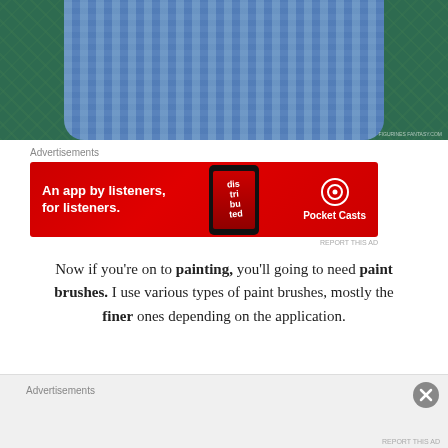[Figure (photo): Close-up photo of blue knitted or crocheted fabric piece on a green cutting mat background]
Advertisements
[Figure (screenshot): Advertisement banner for Pocket Casts app. Red background with text 'An app by listeners, for listeners.' with a phone showing the app and the Pocket Casts logo.]
Now if you're on to painting, you'll going to need paint brushes. I use various types of paint brushes, mostly the finer ones depending on the application.
[Figure (photo): Close-up photo of a wooden object (brush handle or similar) on a green cutting mat]
Advertisements